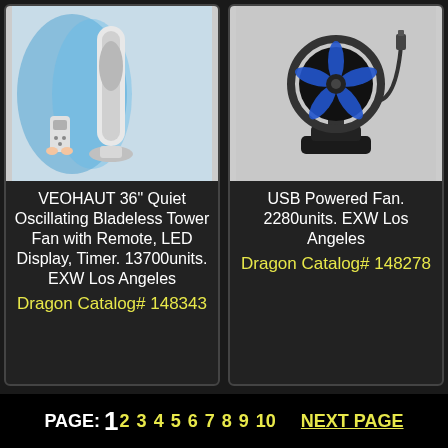[Figure (photo): Tower fan (bladeless) with remote control and blue light accent]
VEOHAUT 36" Quiet Oscillating Bladeless Tower Fan with Remote, LED Display, Timer. 13700units. EXW Los Angeles Dragon Catalog# 148343
[Figure (photo): USB powered desk fan in black with blue accent lighting and USB cable]
USB Powered Fan. 2280units. EXW Los Angeles Dragon Catalog# 148278
PAGE: 1 2 3 4 5 6 7 8 9 10   NEXT PAGE